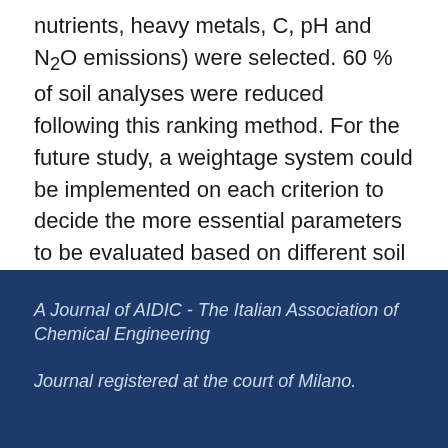nutrients, heavy metals, C, pH and N₂O emissions) were selected. 60 % of soil analyses were reduced following this ranking method. For the future study, a weightage system could be implemented on each criterion to decide the more essential parameters to be evaluated based on different soil or crop type and under different agricultural practices.
A Journal of AIDIC - The Italian Association of Chemical Engineering

Journal registered at the court of Milano.